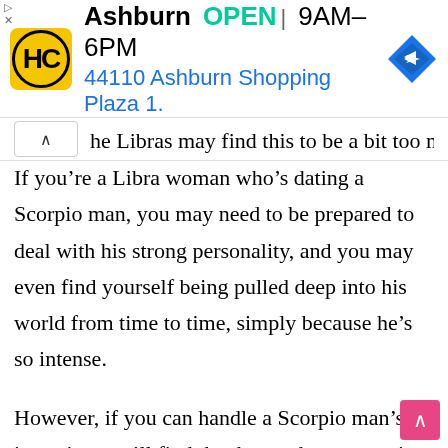[Figure (screenshot): Advertisement banner for HC (Home Depot or similar) store in Ashburn, showing logo, OPEN status, hours 9AM-6PM, address 44110 Ashburn Shopping Plaza 1., and a navigation/directions icon.]
he Libras may find this to be a bit too much.
If you’re a Libra woman who’s dating a Scorpio man, you may need to be prepared to deal with his strong personality, and you may even find yourself being pulled deep into his world from time to time, simply because he’s so intense.
However, if you can handle a Scorpio man’s intensity, you’ll find that he can be an amazing partner who’s always there for you. Yet, if you’re